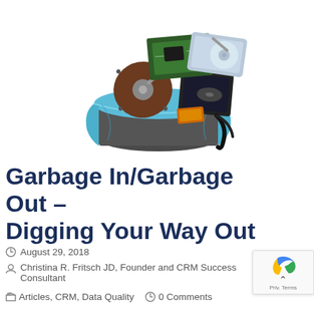[Figure (photo): A trash can with a blue plastic bag liner overflowing with discarded hard drives, circuit boards, and computer hardware on a white background]
Garbage In/Garbage Out – Digging Your Way Out
August 29, 2018
Christina R. Fritsch JD, Founder and CRM Success Consultant
Articles, CRM, Data Quality   0 Comments